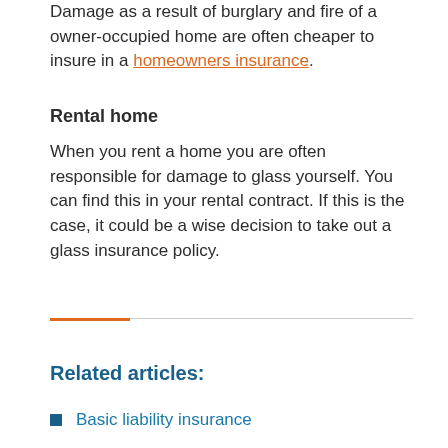Damage as a result of burglary and fire of a owner-occupied home are often cheaper to insure in a homeowners insurance.
Rental home
When you rent a home you are often responsible for damage to glass yourself. You can find this in your rental contract. If this is the case, it could be a wise decision to take out a glass insurance policy.
Related articles:
Basic liability insurance